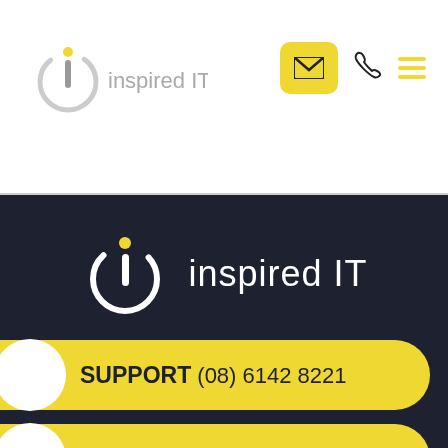[Figure (logo): Inspired IT logo in header — circular power-button style icon with yellow dot on top, ring open at bottom, beside faded 'inspired IT' text]
[Figure (infographic): Navigation icons: yellow envelope button (active), phone handset icon, yellow hamburger menu lines]
[Figure (logo): Inspired IT logo on dark background — white circular ring with yellow dot, beside white text 'inspired IT']
SUPPORT (08) 6142 8221
SALES (08) 6555 1310